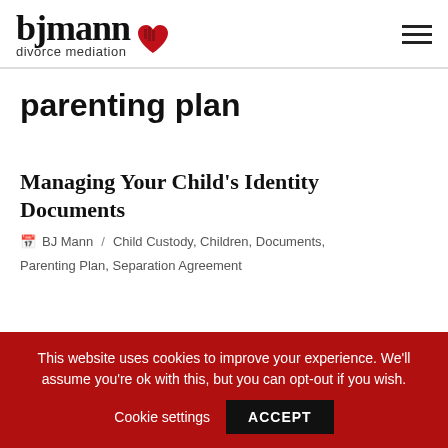[Figure (logo): BJ Mann Divorce Mediation logo with stylized text and broken heart icon]
parenting plan
Managing Your Child's Identity Documents
BJ Mann / Child Custody, Children, Documents, Parenting Plan, Separation Agreement
This website uses cookies to improve your experience. We'll assume you're ok with this, but you can opt-out if you wish. Cookie settings ACCEPT